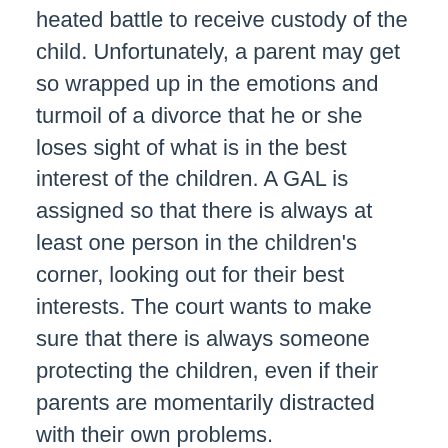heated battle to receive custody of the child. Unfortunately, a parent may get so wrapped up in the emotions and turmoil of a divorce that he or she loses sight of what is in the best interest of the children. A GAL is assigned so that there is always at least one person in the children's corner, looking out for their best interests. The court wants to make sure that there is always someone protecting the children, even if their parents are momentarily distracted with their own problems.
What Does the GAL do?
The paragraph above states that a GAL is assigned to look out for the best interests of